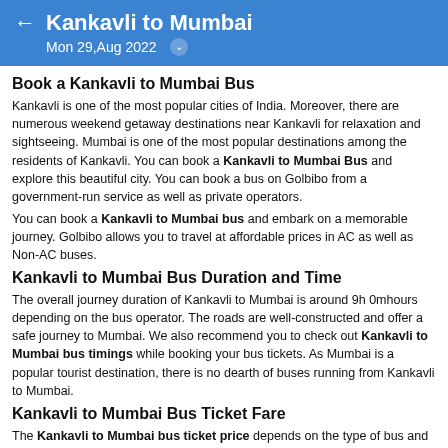Kankavli to Mumbai — Mon 29,Aug 2022
Book a Kankavli to Mumbai Bus
Kankavli is one of the most popular cities of India. Moreover, there are numerous weekend getaway destinations near Kankavli for relaxation and sightseeing. Mumbai is one of the most popular destinations among the residents of Kankavli. You can book a Kankavli to Mumbai Bus and explore this beautiful city. You can book a bus on Golbibo from a government-run service as well as private operators.
You can book a Kankavli to Mumbai bus and embark on a memorable journey. Golbibo allows you to travel at affordable prices in AC as well as Non-AC buses.
Kankavli to Mumbai Bus Duration and Time
The overall journey duration of Kankavli to Mumbai is around 9h 0mhours depending on the bus operator. The roads are well-constructed and offer a safe journey to Mumbai. We also recommend you to check out Kankavli to Mumbai bus timings while booking your bus tickets. As Mumbai is a popular tourist destination, there is no dearth of buses running from Kankavli to Mumbai.
Kankavli to Mumbai Bus Ticket Fare
The Kankavli to Mumbai bus ticket price depends on the type of bus and the operator you are choosing. The ticket fare starts from INR 499 per head and can go as high as INR 5000 per head. The fare is very affordable, and the buses are available round the clock throughout the year. You can always count on Mum...